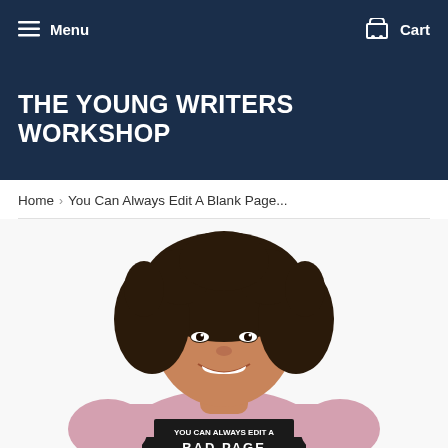Menu   Cart
THE YOUNG WRITERS WORKSHOP
Home › You Can Always Edit A Blank Page...
[Figure (photo): A smiling woman with curly hair wearing a pink long-sleeve shirt with text 'YOU CAN ALWAYS EDIT A BAD PAGE' printed on it]